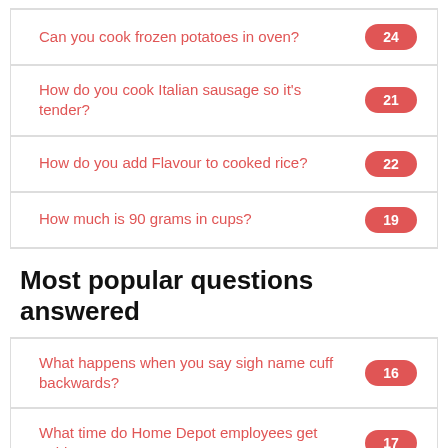Can you cook frozen potatoes in oven? 24
How do you cook Italian sausage so it's tender? 21
How do you add Flavour to cooked rice? 22
How much is 90 grams in cups? 19
Most popular questions answered
What happens when you say sigh name cuff backwards? 16
What time do Home Depot employees get paid? 17